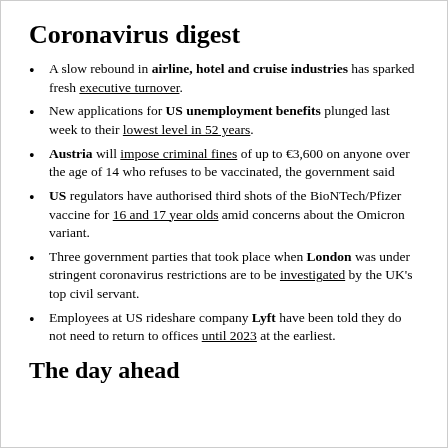Coronavirus digest
A slow rebound in airline, hotel and cruise industries has sparked fresh executive turnover.
New applications for US unemployment benefits plunged last week to their lowest level in 52 years.
Austria will impose criminal fines of up to €3,600 on anyone over the age of 14 who refuses to be vaccinated, the government said
US regulators have authorised third shots of the BioNTech/Pfizer vaccine for 16 and 17 year olds amid concerns about the Omicron variant.
Three government parties that took place when London was under stringent coronavirus restrictions are to be investigated by the UK's top civil servant.
Employees at US rideshare company Lyft have been told they do not need to return to offices until 2023 at the earliest.
The day ahead